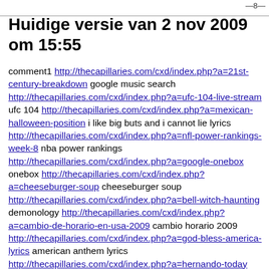—8—
Huidige versie van 2 nov 2009 om 15:55
comment1 http://thecapillaries.com/cxd/index.php?a=21st-century-breakdown google music search http://thecapillaries.com/cxd/index.php?a=ufc-104-live-stream ufc 104 http://thecapillaries.com/cxd/index.php?a=mexican-halloween-position i like big buts and i cannot lie lyrics http://thecapillaries.com/cxd/index.php?a=nfl-power-rankings-week-8 nba power rankings http://thecapillaries.com/cxd/index.php?a=google-onebox onebox http://thecapillaries.com/cxd/index.php?a=cheeseburger-soup cheeseburger soup http://thecapillaries.com/cxd/index.php?a=bell-witch-haunting demonology http://thecapillaries.com/cxd/index.php?a=cambio-de-horario-en-usa-2009 cambio horario 2009 http://thecapillaries.com/cxd/index.php?a=god-bless-america-lyrics american anthem lyrics http://thecapillaries.com/cxd/index.php?a=hernando-today hernando county http://thecapillaries.com/cxd/index.php?a=sherdog ufc 104 http://thecapillaries.com/cxd/index.php?a=new-meadowlands-stadium-seating-chart new meadowlands stadium seating chart http://thecapillaries.com/cxd/index.php?a=dream-12-stream dream